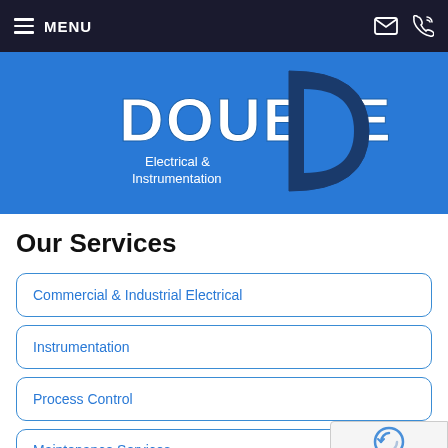MENU
[Figure (logo): Double D Electrical & Instrumentation logo on blue background]
Our Services
Commercial & Industrial Electrical
Instrumentation
Process Control
Maintenance Services